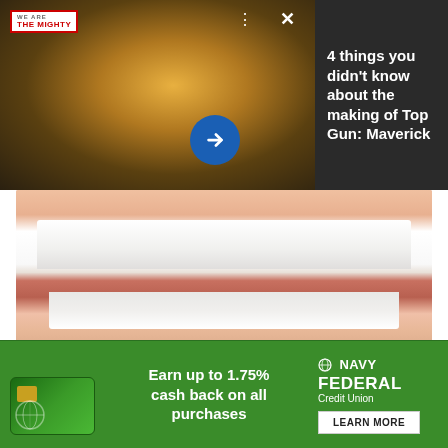[Figure (screenshot): Top Gun: Maverick movie promotion ad with pilot in flight suit against orange/golden sky background. The Mighty logo in upper left. Navigation dots and X close button visible. Blue circular arrow button overlay.]
4 things you didn't know about the making of Top Gun: Maverick
[Figure (photo): Close-up photo of a human mouth showing teeth — upper and lower rows with gums visible.]
Here's What Full Mouth Dental Implants Should Cost You in 2022
Dental Implants | Search Ads
[Figure (other): Navy Federal Credit Union advertisement banner. Green background with credit card image on left showing globe logo. Text: Earn up to 1.75% cash back on all purchases. Navy Federal Credit Union logo on right with LEARN MORE button.]